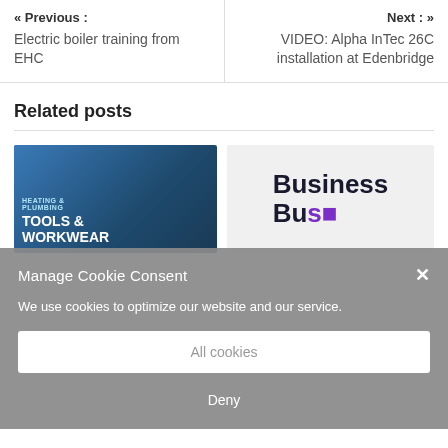« Previous : Electric boiler training from EHC
Next : » VIDEO: Alpha InTec 26C installation at Edenbridge
Related posts
[Figure (photo): Heating & Plumbing Tools & Workwear promotional image with two workers in workwear]
[Figure (photo): Business Resource publication cover thumbnail]
Manage Cookie Consent
We use cookies to optimize our website and our service.
All cookies
Deny